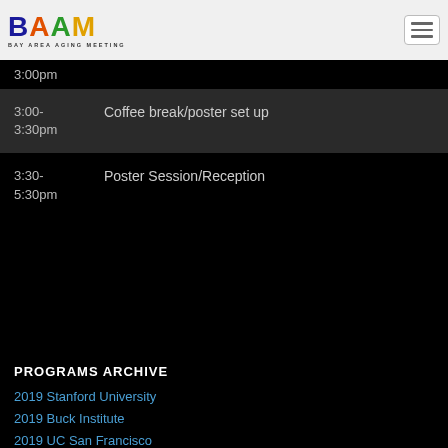[Figure (logo): BAAM Bay Area Aging Meeting logo with colored letters]
3:00pm
| Time | Event |
| --- | --- |
| 3:00-3:30pm | Coffee break/poster set up |
| 3:30-5:30pm | Poster Session/Reception |
PROGRAMS ARCHIVE
2019 Stanford University
2019 Buck Institute
2019 UC San Francisco